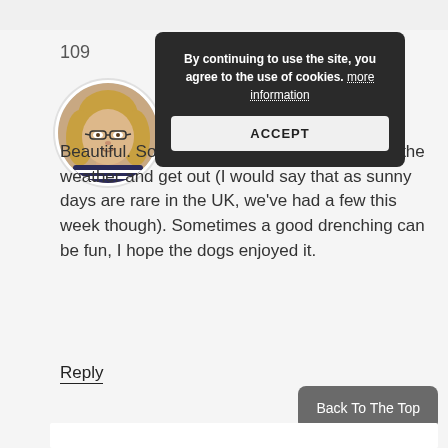[Figure (other): Cookie consent popup overlay with dark background, text 'By continuing to use the site, you agree to the use of cookies. more information' and an ACCEPT button]
109
[Figure (photo): Circular avatar photo of a smiling woman with blonde hair and glasses wearing a striped top]
May 8, 2016 at 10:18 am
Beautiful. Sometimes you just have to ignore the weather and get out (I would say that as sunny days are rare in the UK, we've had a few this week though). Sometimes a good drenching can be fun, I hope the dogs enjoyed it.
Reply
Back To The Top